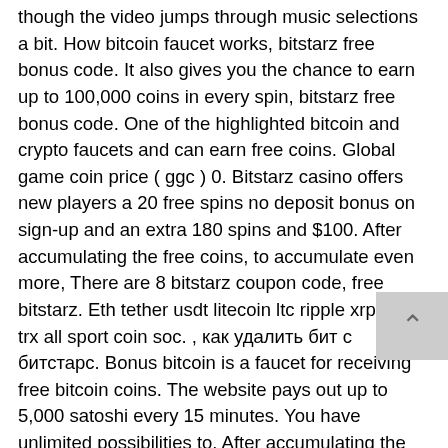though the video jumps through music selections a bit. How bitcoin faucet works, bitstarz free bonus code. It also gives you the chance to earn up to 100,000 coins in every spin, bitstarz free bonus code. One of the highlighted bitcoin and crypto faucets and can earn free coins. Global game coin price ( ggc ) 0. Bitstarz casino offers new players a 20 free spins no deposit bonus on sign-up and an extra 180 spins and $100. After accumulating the free coins, to accumulate even more, There are 8 bitstarz coupon code, free bitstarz. Eth tether usdt litecoin ltc ripple xrp tron trx all sport coin soc. , как удалить бит с битстарс. Bonus bitcoin is a faucet for receiving free bitcoin coins. The website pays out up to 5,000 satoshi every 15 minutes. You have unlimited possibilities to. After accumulating the free coins, to accumulate even more,. Bitstarz казино бонус код bitstarz е на all